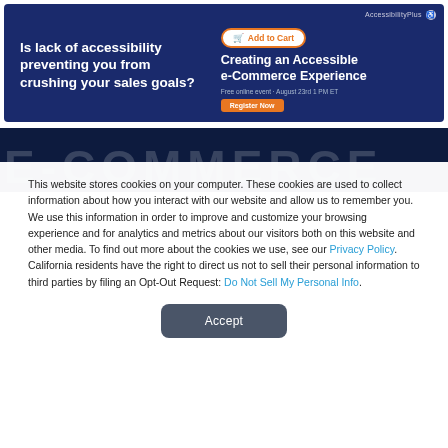[Figure (screenshot): Banner advertisement for AccessibilityPlus webinar. Left side dark blue with white bold text: 'Is lack of accessibility preventing you from crushing your sales goals?'. Right side has orange 'Add to Cart' button, heading 'Creating an Accessible e-Commerce Experience', event line 'Free online event · August 23rd 1 PM ET', and orange 'Register Now' button. Top right shows 'AccessibilityPlus' brand.]
[Figure (screenshot): Dark navy background section with large faint white letters 'E COMMERCE' partially visible behind cookie consent popup.]
This website stores cookies on your computer. These cookies are used to collect information about how you interact with our website and allow us to remember you. We use this information in order to improve and customize your browsing experience and for analytics and metrics about our visitors both on this website and other media. To find out more about the cookies we use, see our Privacy Policy. California residents have the right to direct us not to sell their personal information to third parties by filing an Opt-Out Request: Do Not Sell My Personal Info.
Accept